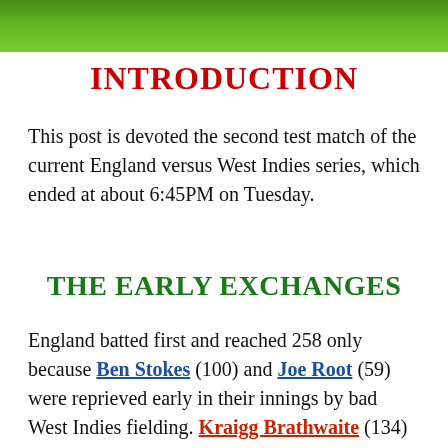[Figure (photo): Green grass field photo strip at top of page]
INTRODUCTION
This post is devoted the second test match of the current England versus West Indies series, which ended at about 6:45PM on Tuesday.
THE EARLY EXCHANGES
England batted first and reached 258 only because Ben Stokes (100) and Joe Root (59) were reprieved early in their innings by bad West Indies fielding. Kraigg Brathwaite (134) and Shai Hope (147) were the cornerstones of a